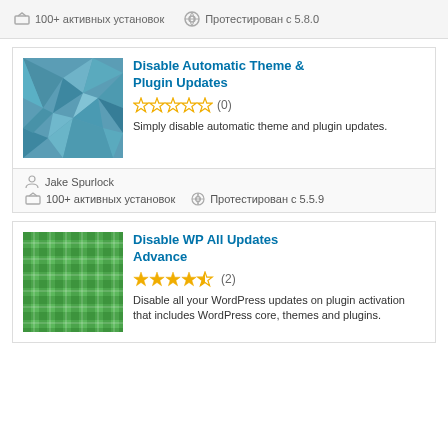100+ активных установок   Протестирован с 5.8.0
[Figure (illustration): Blue geometric polygon/low-poly pattern plugin thumbnail]
Disable Automatic Theme & Plugin Updates
★★★★★ (0)
Simply disable automatic theme and plugin updates.
Jake Spurlock
100+ активных установок   Протестирован с 5.5.9
[Figure (illustration): Green plaid/tartan pattern plugin thumbnail]
Disable WP All Updates Advance
★★★★½ (2)
Disable all your WordPress updates on plugin activation that includes WordPress core, themes and plugins.